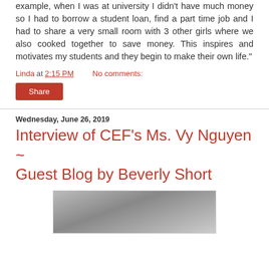example, when I was at university I didn't have much money so I had to borrow a student loan, find a part time job and I had to share a very small room with 3 other girls where we also cooked together to save money. This inspires and motivates my students and they begin to make their own life."
Linda at 2:15 PM   No comments:
Share
Wednesday, June 26, 2019
Interview of CEF's Ms. Vy Nguyen ~ Guest Blog by Beverly Short
[Figure (photo): Partial photo of a person, cropped at bottom of page]